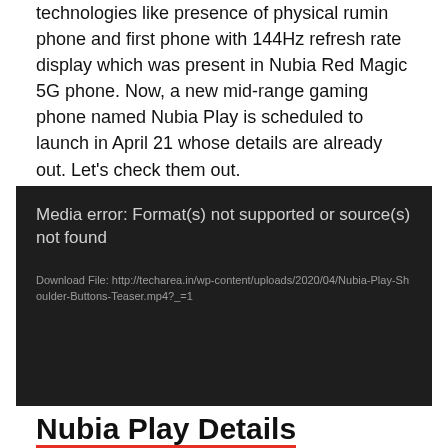technologies like presence of physical rumin phone and first phone with 144Hz refresh rate display which was present in Nubia Red Magic 5G phone. Now, a new mid-range gaming phone named Nubia Play is scheduled to launch in April 21 whose details are already out. Let's check them out.
[Figure (screenshot): Media player error box with dark background showing: 'Media error: Format(s) not supported or source(s) not found' and download link: http://techarea.in/wp-content/uploads/2020/04/Nubia-Play-Shoulder-Buttons-Teaser.mp4?_=1]
Nubia Play Details